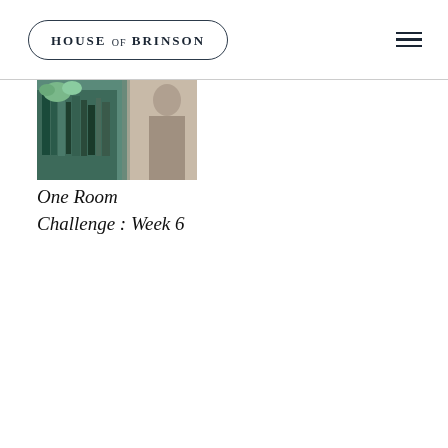HOUSE OF BRINSON
[Figure (photo): Partial thumbnail image showing a room interior with teal/green tones, books, and decorative items]
One Room Challenge : Week 6